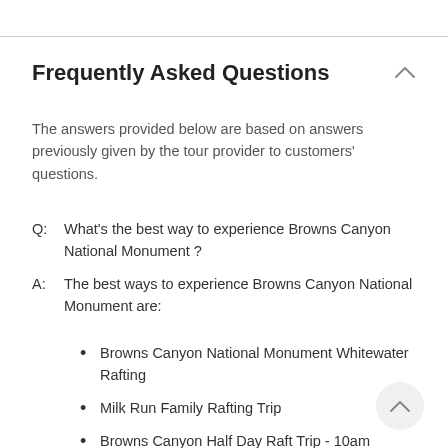Frequently Asked Questions
The answers provided below are based on answers previously given by the tour provider to customers' questions.
Q:  What's the best way to experience Browns Canyon National Monument ?
A:  The best ways to experience Browns Canyon National Monument are:
Browns Canyon National Monument Whitewater Rafting
Milk Run Family Rafting Trip
Browns Canyon Half Day Raft Trip - 10am